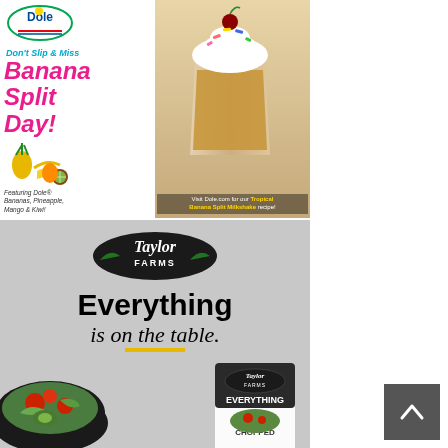[Figure (illustration): Dole branded advertisement for Banana Split Day featuring teal background, Dole logo, pink script text 'Don't Slip & Miss Banana Split Day!', tropical fruits illustration, and a banana split milkshake photo with whipped cream, cherry, and sprinkles. Text reads 'Featuring Dole Bananas, Pineapple, Mango & Kiwi!' and 'Visit Dole.com for our Tropical Banana Split Milkshake recipe!']
[Figure (illustration): Taylor Farms advertisement on gray background. Features Taylor Farms oval logo, bold text 'Everything is on the table.' with gold underline bar, image of salad bowl with tomatoes and greens on left, and Taylor Farms Everything Chopped salad bag on right.]